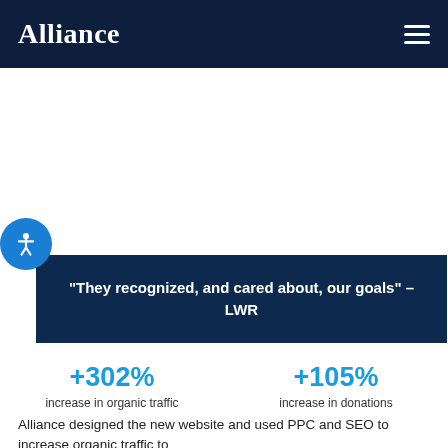Alliance
“They recognized, and cared about, our goals” – LWR
+302% increase in organic traffic
+105% increase in donations
Alliance designed the new website and used PPC and SEO to increase organic traffic to